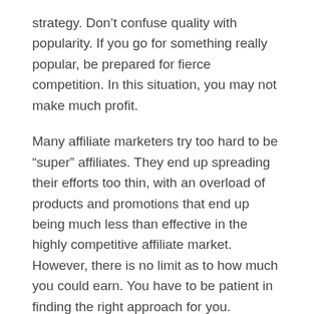strategy. Don't confuse quality with popularity. If you go for something really popular, be prepared for fierce competition. In this situation, you may not make much profit.
Many affiliate marketers try too hard to be “super” affiliates. They end up spreading their efforts too thin, with an overload of products and promotions that end up being much less than effective in the highly competitive affiliate market. However, there is no limit as to how much you could earn. You have to be patient in finding the right approach for you.
Make sure you are keeping track of affiliate tasks assigned by email in an efficient way rather than wasting time with constant checking. As a time saver, take the most important points from the emails and